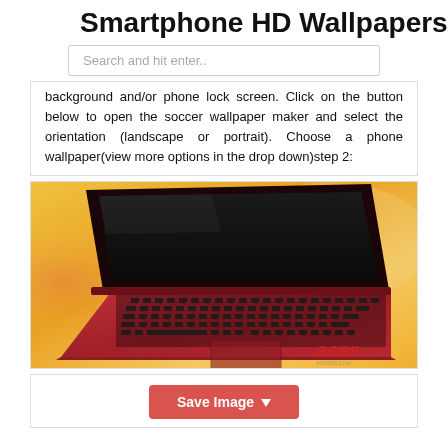Smartphone HD Wallpapers
Search and hit enter..
background and/or phone lock screen. Click on the button below to open the soccer wallpaper maker and select the orientation (landscape or portrait). Choose a phone wallpaper(view more options in the drop down)step 2:
[Figure (photo): Red Acer laptop computer with black keyboard and screen open, photographed at an angle on a warm yellow-orange background. Acer logo visible in lower right corner.]
Save Image